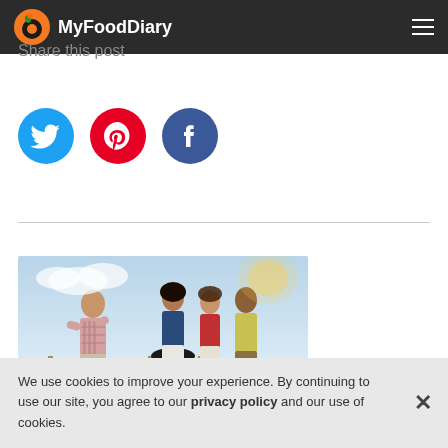MyFoodDiary
Share this post
[Figure (logo): Twitter bird icon (blue circle)]
[Figure (logo): Pinterest P icon (red circle)]
[Figure (logo): Facebook f icon (blue circle)]
[Figure (photo): Group of people socializing outdoors at a backyard gathering/BBQ]
How to Avoid Weekend Weight Gain
We use cookies to improve your experience. By continuing to use our site, you agree to our privacy policy and our use of cookies.